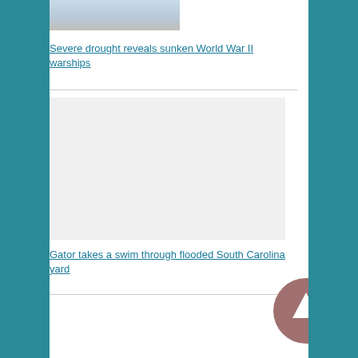[Figure (photo): Partial thumbnail image of sunken warships article, cropped at top]
Severe drought reveals sunken World War II warships
[Figure (photo): Large image placeholder for gator flooded yard article]
Gator takes a swim through flooded South Carolina yard
[Figure (other): Scroll-to-top button: circular button with upward arrow, brownish-rose color]